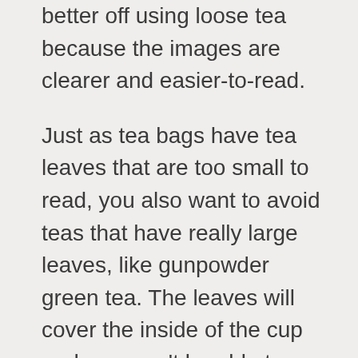better off using loose tea because the images are clearer and easier-to-read.
Just as tea bags have tea leaves that are too small to read, you also want to avoid teas that have really large leaves, like gunpowder green tea. The leaves will cover the inside of the cup and you won't be able to interpret images.
The leaves don't need to be the same size. In fact, ones that are slightly different in size and shape (like Keemun) work well because of how they will form images in your cup.
Some tea leaf readers state that you shouldn't use tea that contains added ingredients, like dried